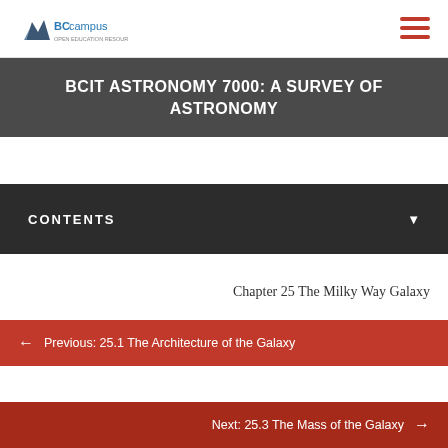BCcampus
BCIT ASTRONOMY 7000: A SURVEY OF ASTRONOMY
CONTENTS
Chapter 25 The Milky Way Galaxy
Previous: 25.1 The Architecture of the Galaxy
Next: 25.3 The Mass of the Galaxy